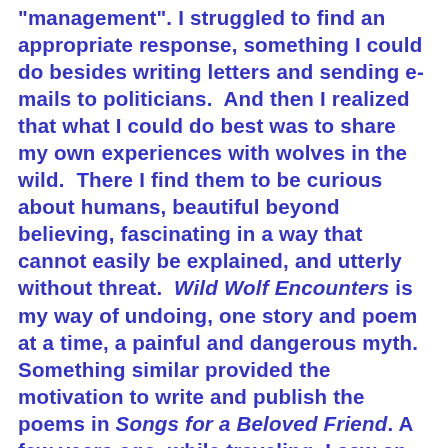“management”. I struggled to find an appropriate response, something I could do besides writing letters and sending e-mails to politicians.  And then I realized that what I could do best was to share my own experiences with wolves in the wild.  There I find them to be curious about humans, beautiful beyond believing, fascinating in a way that cannot easily be explained, and utterly without threat.  Wild Wolf Encounters is my way of undoing, one story and poem at a time, a painful and dangerous myth. Something similar provided the motivation to write and publish the poems in Songs for a Beloved Friend.  A few years ago, while traveling, I saw an animal welfare organization’s ad in a national magazine.  The ad showed a calf, raised for veal, living its life in a tiny